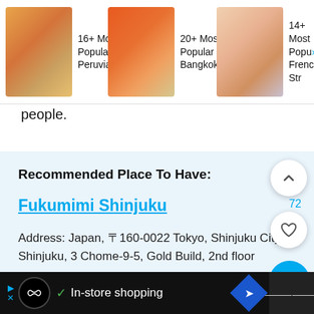[Figure (screenshot): Top navigation bar showing three food article thumbnails: '16+ Most Popular Peruvian...', '20+ Most Popular Bangkok...', '14+ Most Popular French Str...' with food images]
people.
Recommended Place To Have:
Fukumimi Shinjuku
Address: Japan, 〒160-0022 Tokyo, Shinjuku City, Shinjuku, 3 Chome-9-5, Gold Build, 2nd floor
Time: 2 PM to 9 PM (From Monday to Sunday)
[Figure (screenshot): Bottom advertisement bar showing ad arrows, logo circle with infinity symbol, checkmark, 'In-store shopping' text, navigation icon, and right block with wavy lines icon]